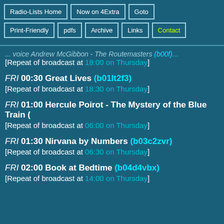Radio-Lists Home | Now on 4Extra | Goto | Print-Friendly | pdfs | Archive | Links | Contact
... voice Andrew McGibbon - The Routemasters (b00f)... [Repeat of broadcast at 18:00 on Thursday]
FRI 00:30 Great Lives (b01lt2f3) [Repeat of broadcast at 18:30 on Thursday]
FRI 01:00 Hercule Poirot - The Mystery of the Blue Train ( [Repeat of broadcast at 06:00 on Thursday]
FRI 01:30 Nirvana by Numbers (b03c2zvr) [Repeat of broadcast at 06:30 on Thursday]
FRI 02:00 Book at Bedtime (b04d4vbx) [Repeat of broadcast at 14:00 on Thursday]